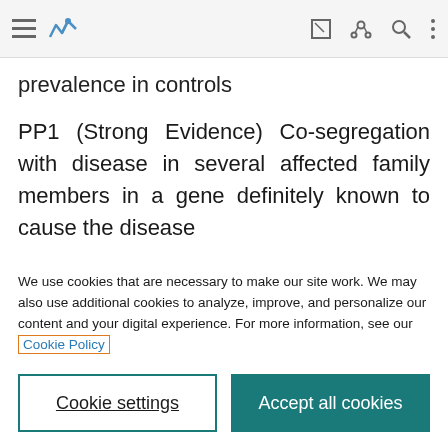prevalence in controls
PP1 (Strong Evidence) Co-segregation with disease in several affected family members in a gene definitely known to cause the disease
We use cookies that are necessary to make our site work. We may also use additional cookies to analyze, improve, and personalize our content and your digital experience. For more information, see our Cookie Policy
Cookie settings | Accept all cookies